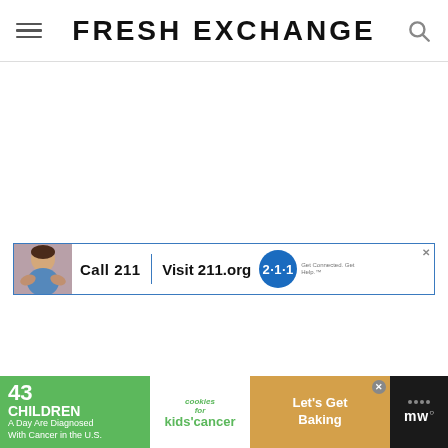FRESH EXCHANGE
[Figure (screenshot): Advertisement banner: Call 211 | Visit 211.org with 2-1-1 logo, child photo on left]
[Figure (screenshot): Advertisement banner: 43 Children A Day Are Diagnosed With Cancer in the U.S. - cookies for kids cancer - Let's Get Baking]
[Figure (logo): Merriam-Webster logo area on dark background, bottom right]